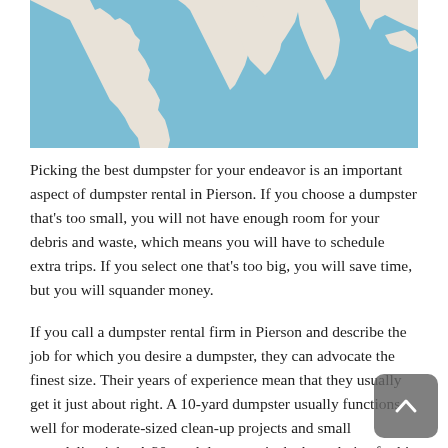[Figure (map): Partial world map showing regions in blue (land) and white/beige (other land masses), top portion of the image cropped]
Picking the best dumpster for your endeavor is an important aspect of dumpster rental in Pierson. If you choose a dumpster that's too small, you will not have enough room for your debris and waste, which means you will have to schedule extra trips. If you select one that's too big, you will save time, but you will squander money.
If you call a dumpster rental firm in Pierson and describe the job for which you desire a dumpster, they can advocate the finest size. Their years of experience mean that they usually get it just about right. A 10-yard dumpster usually functions well for moderate-sized clean-up projects and small remodeling jobs. A 20-yard dumpster is the best choice for big home clean-up projects and moderate-sized renovation projects, while a 30-yard dumpster has higher walls which are ideal for a house cleanout or remodeling jobs on a sizeable house. 40-yard dumpsters are